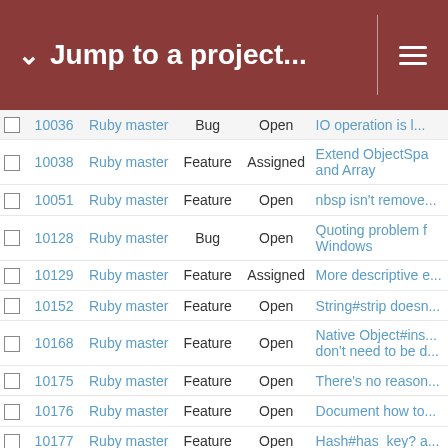Jump to a project...
|  | # | Project | Tracker | Status | Subject |
| --- | --- | --- | --- | --- | --- |
|  | 10036 | Ruby master | Bug | Open | IO operation is l... |
|  | 10038 | Ruby master | Feature | Assigned | Extend ObjectSpa... and Array |
|  | 10051 | Ruby master | Feature | Open | nbsp isn't remove... |
|  | 10128 | Ruby master | Bug | Open | Quoting problem f... Windows |
|  | 10129 | Ruby master | Feature | Assigned | More descriptive e... |
|  | 10152 | Ruby master | Feature | Open | String#strip doesn... |
|  | 10168 | Ruby master | Feature | Open | Native Object#ins... don't need to be d... |
|  | 10175 | Ruby master | Feature | Open | There's no reason... |
|  | 10176 | Ruby master | Feature | Open | Document how to... |
|  | 10177 | Ruby master | Feature | Open | Hash#has_key? a... |
|  | 10179 | Ruby master | Feature | Open | Net::HTTP::Get.ne... password) should... to true |
|  | 10181 | Ruby master | Feature | Open | New method File.c... |
|  | 10183 | Ruby master | Feature | Open | An alternative nam... |
|  | 10215 | Ruby master | Feature | Open | prohibit subclassi... |
|  | 10217 | Ruby master | Feature | Open | Dir constructor si... |